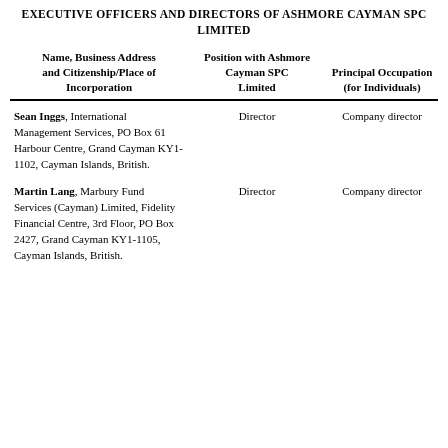EXECUTIVE OFFICERS AND DIRECTORS OF ASHMORE CAYMAN SPC LIMITED
| Name, Business Address and Citizenship/Place of Incorporation | Position with Ashmore Cayman SPC Limited | Principal Occupation (for Individuals) |
| --- | --- | --- |
| Sean Inggs, International Management Services, PO Box 61 Harbour Centre, Grand Cayman KY1-1102, Cayman Islands, British. | Director | Company director |
| Martin Lang, Marbury Fund Services (Cayman) Limited, Fidelity Financial Centre, 3rd Floor, PO Box 2427, Grand Cayman KY1-1105, Cayman Islands, British. | Director | Company director |